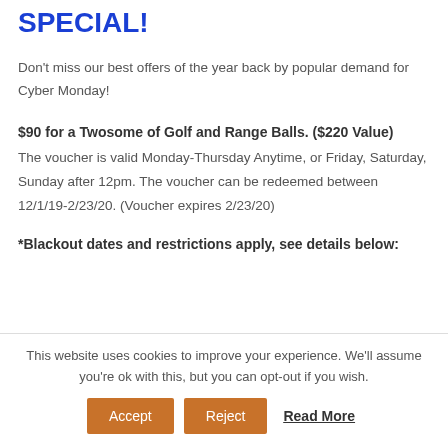SPECIAL!
Don't miss our best offers of the year back by popular demand for Cyber Monday!
$90 for a Twosome of Golf and Range Balls. ($220 Value)
The voucher is valid Monday-Thursday Anytime, or Friday, Saturday, Sunday after 12pm. The voucher can be redeemed between 12/1/19-2/23/20. (Voucher expires 2/23/20)
*Blackout dates and restrictions apply, see details below:
This website uses cookies to improve your experience. We'll assume you're ok with this, but you can opt-out if you wish.